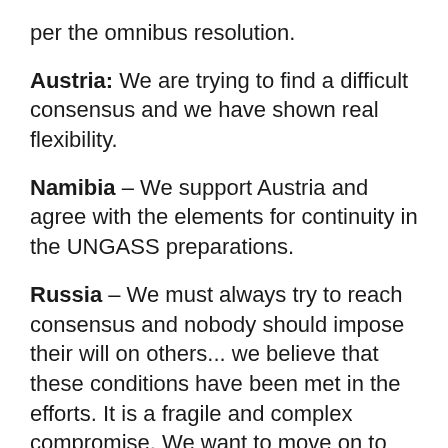per the omnibus resolution.
Austria: We are trying to find a difficult consensus and we have shown real flexibility.
Namibia – We support Austria and agree with the elements for continuity in the UNGASS preparations.
Russia – We must always try to reach consensus and nobody should impose their will on others... we believe that these conditions have been met in the efforts. It is a fragile and complex compromise. We want to move on to discuss the substantive issues.
Mexico – if this is really a semantic issue then why is there resistance? There is a